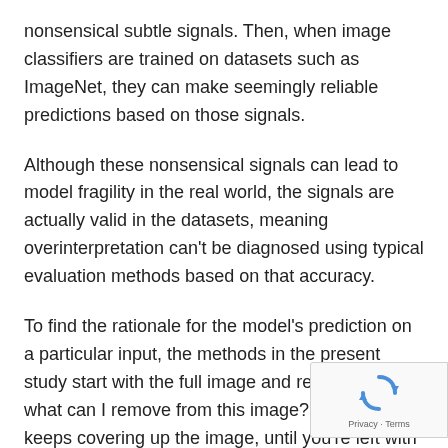nonsensical subtle signals. Then, when image classifiers are trained on datasets such as ImageNet, they can make seemingly reliable predictions based on those signals.
Although these nonsensical signals can lead to model fragility in the real world, the signals are actually valid in the datasets, meaning overinterpretation can't be diagnosed using typical evaluation methods based on that accuracy.
To find the rationale for the model's prediction on a particular input, the methods in the present study start with the full image and repeatedly ask, what can I remove from this image? Essentially, it keeps covering up the image, until you're left with the smallest piece that still makes a confident decision.
[Figure (logo): reCAPTCHA badge with spinning arrows icon and 'Privacy · Terms' text]